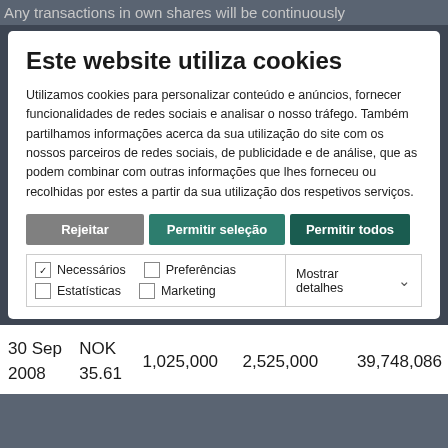Any transactions in own shares will be continuously
Este website utiliza cookies
Utilizamos cookies para personalizar conteúdo e anúncios, fornecer funcionalidades de redes sociais e analisar o nosso tráfego. Também partilhamos informações acerca da sua utilização do site com os nossos parceiros de redes sociais, de publicidade e de análise, que as podem combinar com outras informações que lhes forneceu ou recolhidas por estes a partir da sua utilização dos respetivos serviços.
Rejeitar | Permitir seleção | Permitir todos
Necessários  Preferências  Estatísticas  Marketing  Mostrar detalhes
| 30 Sep 2008 | NOK 35.61 | 1,025,000 | 2,525,000 | 39,748,086 |